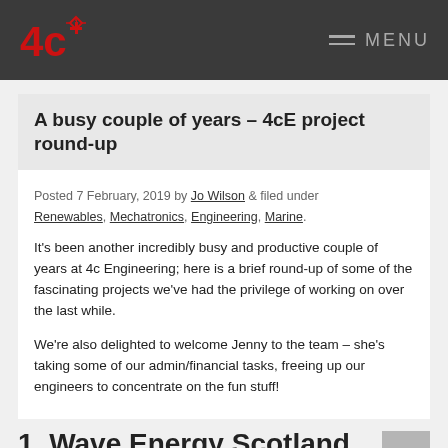4c Engineering — MENU
A busy couple of years – 4cE project round-up
Posted 7 February, 2019 by Jo Wilson & filed under Renewables, Mechatronics, Engineering, Marine.
It's been another incredibly busy and productive couple of years at 4c Engineering; here is a brief round-up of some of the fascinating projects we've had the privilege of working on over the last while.
We're also delighted to welcome Jenny to the team – she's taking some of our admin/financial tasks, freeing up our engineers to concentrate on the fun stuff!
1. Wave Energy Scotland project with Sea Power Ltd